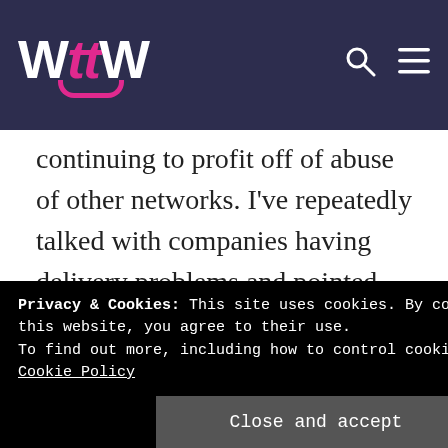WttW
continuing to profit off of abuse of other networks. I've repeatedly talked with companies having delivery problems and pointed out that the fraud was a likely part of the delivery problems. I've rarely found any company that cared about fraud that was making them money.
Privacy & Cookies: This site uses cookies. By continuing to use this website, you agree to their use.
To find out more, including how to control cookies, see here: Cookie Policy
Close and accept